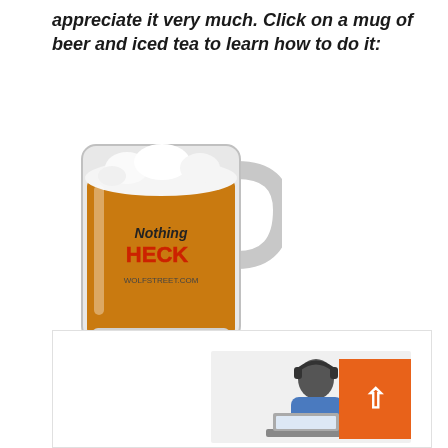appreciate it very much. Click on a mug of beer and iced tea to learn how to do it:
[Figure (photo): A glass mug filled with amber beer, with 'Nothing HECK' written on it in graffiti style, branded as WOLF STREET.]
Would you like to be notified by email when WOLF STREET publishes a new article? Register here.
[Figure (photo): A person wearing headphones sitting at a laptop, with an orange back-to-top button on the right side.]